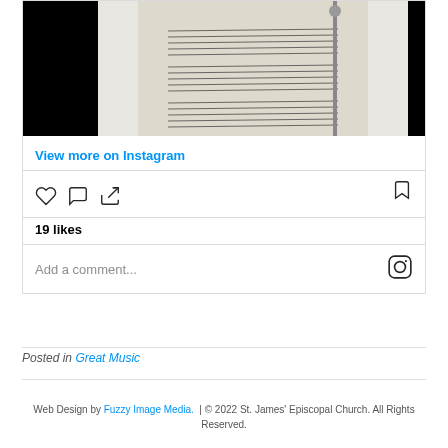[Figure (screenshot): Instagram embed showing a photo of sheet music on a music stand, with black background on sides. Below the photo are Instagram UI elements.]
View more on Instagram
19 likes
Add a comment...
Posted in Great Music
Web Design by Fuzzy Image Media. | © 2022 St. James' Episcopal Church. All Rights Reserved.